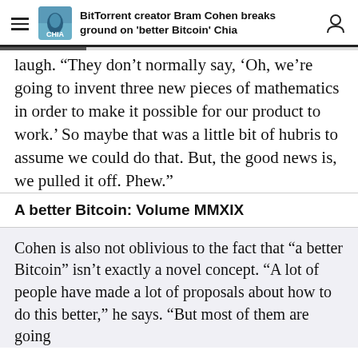BitTorrent creator Bram Cohen breaks ground on 'better Bitcoin' Chia
laugh. “They don’t normally say, ‘Oh, we’re going to invent three new pieces of mathematics in order to make it possible for our product to work.’ So maybe that was a little bit of hubris to assume we could do that. But, the good news is, we pulled it off. Phew.”
A better Bitcoin: Volume MMXIX
Cohen is also not oblivious to the fact that “a better Bitcoin” isn’t exactly a novel concept. “A lot of people have made a lot of proposals about how to do this better,” he says. “But most of them are going